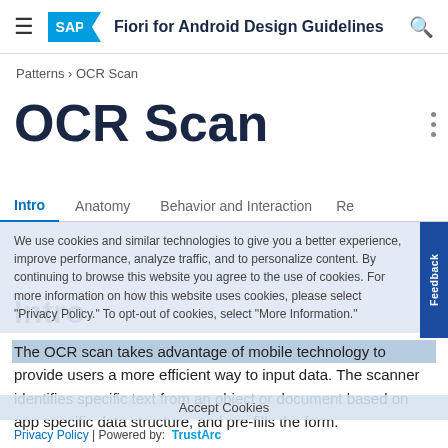SAP Fiori for Android Design Guidelines
Patterns › OCR Scan
OCR Scan
Intro   Anatomy   Behavior and Interaction   Res…
We use cookies and similar technologies to give you a better experience, improve performance, analyze traffic, and to personalize content. By continuing to browse this website you agree to the use of cookies. For more information on how this website uses cookies, please select "Privacy Policy." To opt-out of cookies, select "More Information."
Intro
The OCR scan takes advantage of mobile technology to provide users a more efficient way to input data. The scanner identifies specific text from an object or document based on app specific data structure, and pre-fills the form.
Privacy Policy | Powered by: TrustArc